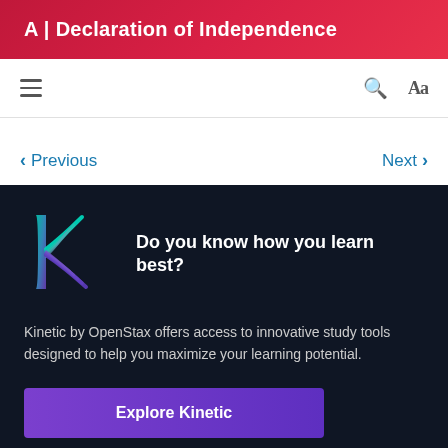A | Declaration of Independence
Previous   Next
[Figure (logo): Kinetic by OpenStax logo — stylized K letter with teal and purple wave lines]
Do you know how you learn best?
Kinetic by OpenStax offers access to innovative study tools designed to help you maximize your learning potential.
Explore Kinetic